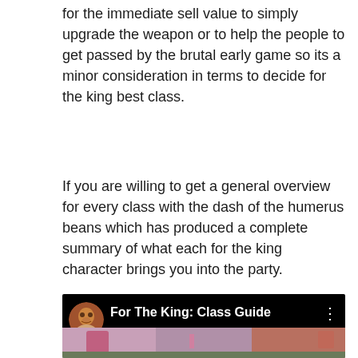for the immediate sell value to simply upgrade the weapon or to help the people to get passed by the brutal early game so its a minor consideration in terms to decide for the king best class.
If you are willing to get a general overview for every class with the dash of the humerus beans which has produced a complete summary of what each for the king character brings you into the party.
[Figure (screenshot): YouTube video thumbnail showing 'For The King: Class Guide' with a cartoon avatar on the left, white title text, and a three-dot menu icon on the right, over a black background with a blurred game scene below.]